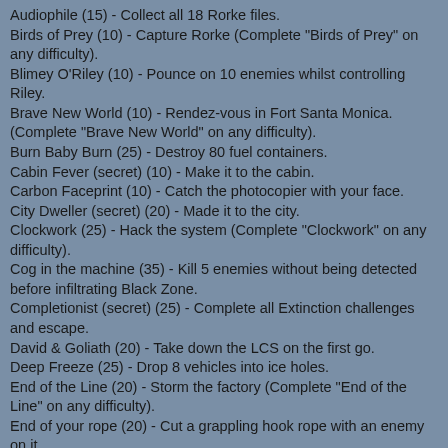Audiophile (15) - Collect all 18 Rorke files.
Birds of Prey (10) - Capture Rorke (Complete "Birds of Prey" on any difficulty).
Blimey O'Riley (10) - Pounce on 10 enemies whilst controlling Riley.
Brave New World (10) - Rendez-vous in Fort Santa Monica. (Complete "Brave New World" on any difficulty).
Burn Baby Burn (25) - Destroy 80 fuel containers.
Cabin Fever (secret) (10) - Make it to the cabin.
Carbon Faceprint (10) - Catch the photocopier with your face.
City Dweller (secret) (20) - Made it to the city.
Clockwork (25) - Hack the system (Complete "Clockwork" on any difficulty).
Cog in the machine (35) - Kill 5 enemies without being detected before infiltrating Black Zone.
Completionist (secret) (25) - Complete all Extinction challenges and escape.
David & Goliath (20) - Take down the LCS on the first go.
Deep Freeze (25) - Drop 8 vehicles into ice holes.
End of the Line (20) - Storm the factory (Complete "End of the Line" on any difficulty).
End of your rope (20) - Cut a grappling hook rope with an enemy on it.
Federation Day (10) - Gather intel on Rorke. (Complete "Federation Day" on any difficulty).
Fly-by-wire (20) - Take out 3 out of 3 helicopters with the remote missile.
Ghost Stories (5) - Escape. (Complete "Ghost Stories" on any difficulty).